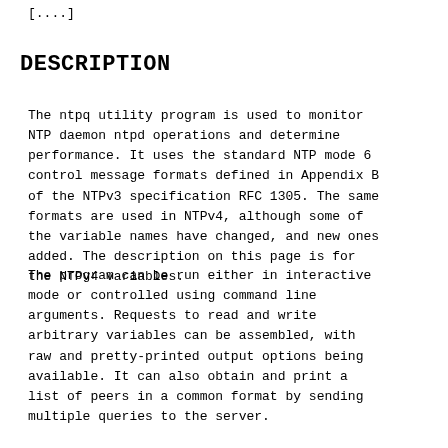[....]
DESCRIPTION
The ntpq utility program is used to monitor NTP daemon ntpd operations and determine performance. It uses the standard NTP mode 6 control message formats defined in Appendix B of the NTPv3 specification RFC 1305. The same formats are used in NTPv4, although some of the variable names have changed, and new ones added. The description on this page is for the NTPv4 variables.
The program can be run either in interactive mode or controlled using command line arguments. Requests to read and write arbitrary variables can be assembled, with raw and pretty-printed output options being available. It can also obtain and print a list of peers in a common format by sending multiple queries to the server.